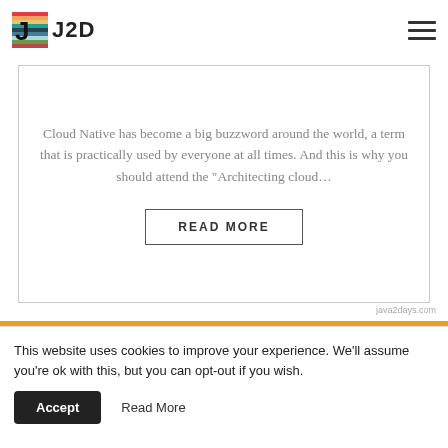[Figure (logo): J2D logo with rainbow chevron icon and bold J2D text]
Cloud Native has become a big buzzword around the world, a term that is practically used by everyone at all times. And this is why you should attend the “Architecting cloud…
READ MORE
java2days.com
This website uses cookies to improve your experience. We’ll assume you’re ok with this, but you can opt-out if you wish.
Accept
Read More